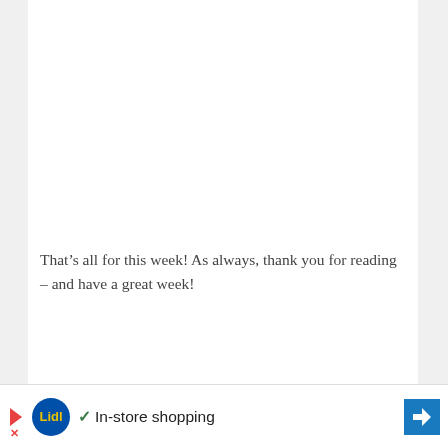That’s all for this week! As always, thank you for reading – and have a great week!
[Figure (infographic): Orange/peach background infographic showing boy names big on the site for the week of 7.15.18. Names listed: Eben, Oliver, Alex, Vaughn, Caspian, Cohen, Lando, Benji, Fahim, Nico, Zander, Francis, John]
In-store shopping (Lidl advertisement)